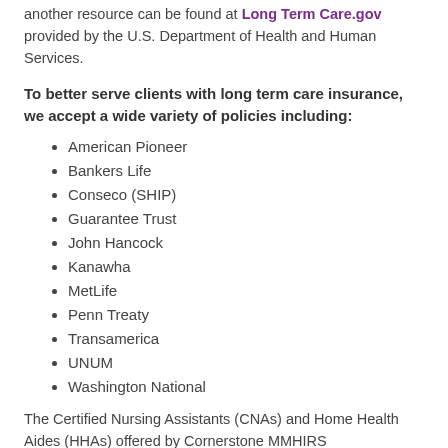another resource can be found at Long Term Care.gov provided by the U.S. Department of Health and Human Services.
To better serve clients with long term care insurance, we accept a wide variety of policies including:
American Pioneer
Bankers Life
Conseco (SHIP)
Guarantee Trust
John Hancock
Kanawha
MetLife
Penn Treaty
Transamerica
UNUM
Washington National
The Certified Nursing Assistants (CNAs) and Home Health Aides (HHAs) offered by Cornerstone MMHRS...